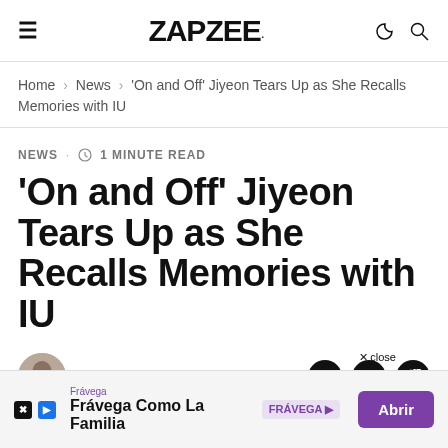ZAPZEE
Home > News > 'On and Off' Jiyeon Tears Up as She Recalls Memories with IU
NEWS · 1 MINUTE READ
'On and Off' Jiyeon Tears Up as She Recalls Memories with IU
KRISHKIM
[Figure (infographic): Advertisement banner: Frávega Como La Familia with Abrir button]